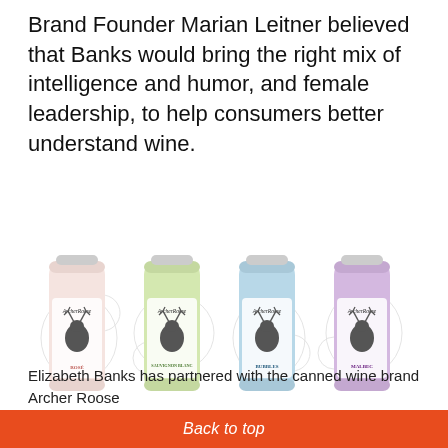Brand Founder Marian Leitner believed that Banks would bring the right mix of intelligence and humor, and female leadership, to help consumers better understand wine.
[Figure (photo): Four Archer Roose canned wine varieties displayed side by side: Rosé (pink label), Sauvignon Blanc (green label), Bubbles (blue label), and Malbec (purple label). Each can features an illustrated moose and decorative fruit drawings.]
Elizabeth Banks has partnered with the canned wine brand Archer Roose
Back to top